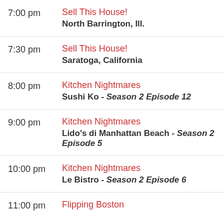7:00 pm | Sell This House! | North Barrington, Ill.
7:30 pm | Sell This House! | Saratoga, California
8:00 pm | Kitchen Nightmares | Sushi Ko - Season 2 Episode 12
9:00 pm | Kitchen Nightmares | Lido's di Manhattan Beach - Season 2 Episode 5
10:00 pm | Kitchen Nightmares | Le Bistro - Season 2 Episode 6
11:00 pm | Flipping Boston